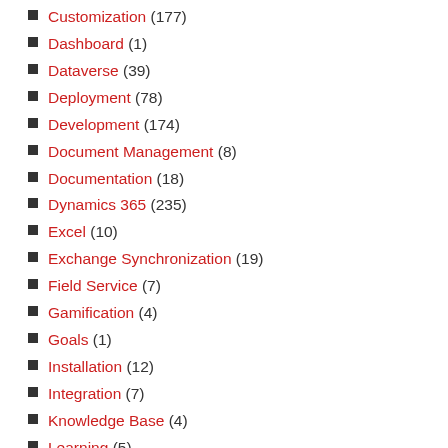Customization (177)
Dashboard (1)
Dataverse (39)
Deployment (78)
Development (174)
Document Management (8)
Documentation (18)
Dynamics 365 (235)
Excel (10)
Exchange Synchronization (19)
Field Service (7)
Gamification (4)
Goals (1)
Installation (12)
Integration (7)
Knowledge Base (4)
Learning (5)
Mail merge (1)
Marketing (24)